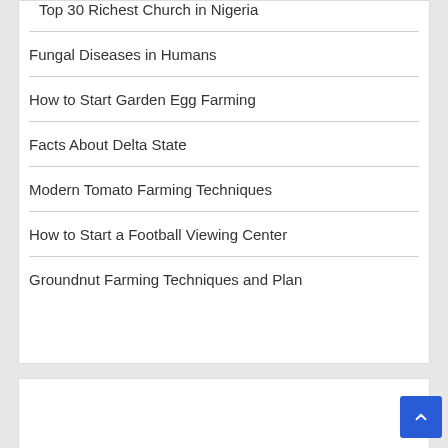Top 30 Richest Church in Nigeria
Fungal Diseases in Humans
How to Start Garden Egg Farming
Facts About Delta State
Modern Tomato Farming Techniques
How to Start a Football Viewing Center
Groundnut Farming Techniques and Plan